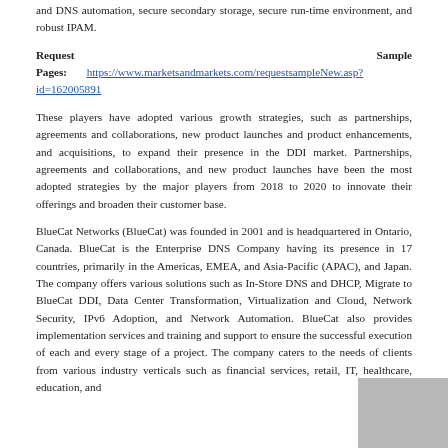and DNS automation, secure secondary storage, secure run-time environment, and robust IPAM.
Request Sample Pages: https://www.marketsandmarkets.com/requestsampleNew.asp?id=162005891
These players have adopted various growth strategies, such as partnerships, agreements and collaborations, new product launches and product enhancements, and acquisitions, to expand their presence in the DDI market. Partnerships, agreements and collaborations, and new product launches have been the most adopted strategies by the major players from 2018 to 2020 to innovate their offerings and broaden their customer base.
BlueCat Networks (BlueCat) was founded in 2001 and is headquartered in Ontario, Canada. BlueCat is the Enterprise DNS Company having its presence in 17 countries, primarily in the Americas, EMEA, and Asia-Pacific (APAC), and Japan. The company offers various solutions such as In-Store DNS and DHCP, Migrate to BlueCat DDI, Data Center Transformation, Virtualization and Cloud, Network Security, IPv6 Adoption, and Network Automation. BlueCat also provides implementation services and training and support to ensure the successful execution of each and every stage of a project. The company caters to the needs of clients from various industry verticals such as financial services, retail, IT, healthcare, education, and